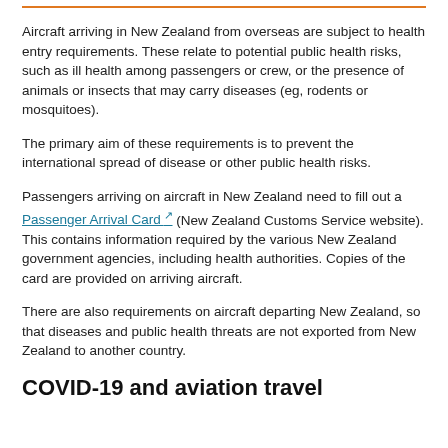Aircraft arriving in New Zealand from overseas are subject to health entry requirements. These relate to potential public health risks, such as ill health among passengers or crew, or the presence of animals or insects that may carry diseases (eg, rodents or mosquitoes).
The primary aim of these requirements is to prevent the international spread of disease or other public health risks.
Passengers arriving on aircraft in New Zealand need to fill out a Passenger Arrival Card (New Zealand Customs Service website). This contains information required by the various New Zealand government agencies, including health authorities. Copies of the card are provided on arriving aircraft.
There are also requirements on aircraft departing New Zealand, so that diseases and public health threats are not exported from New Zealand to another country.
COVID-19 and aviation travel